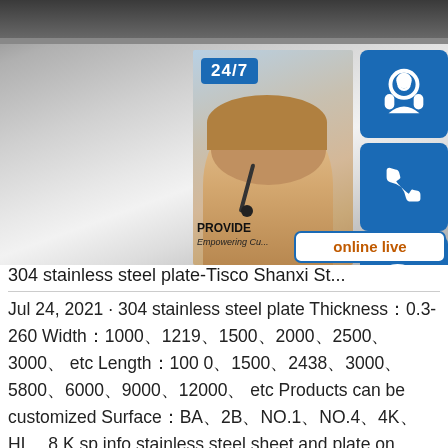[Figure (photo): Stainless steel plate/sheet product photo with customer service overlay widgets (24/7 badge, headset icon, phone icon, Skype icon, online live button, woman with headset)]
304 stainless steel plate-Tisco Shanxi St...
Jul 24, 2021 · 304 stainless steel plate Thickness：0.3-260 Width：1000、1219、1500、2000、2500、3000、 etc Length：1000、1500、2438、3000、5800、6000、9000、12000、 etc Products can be customized Surface：BA、2B、NO.1、NO.4、4K、HL、8K sp.info stainless steel sheet and plate on sales - Qualit